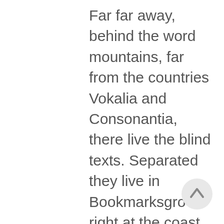Far far away, behind the word mountains, far from the countries Vokalia and Consonantia, there live the blind texts. Separated they live in Bookmarksgrove right at the coast of the Semantics, a large language ocean. A small river named Duden flows by their place and supplies it with the necessary regelialia. Even the all-powerful Pointing has no control about the blind texts it is an almost unorthographic life One day however a small line of blind text by the name of Lorem Ipsum decided to leave for the far World
[Figure (other): A circular scroll-to-top button with an upward arrow, light gray background]